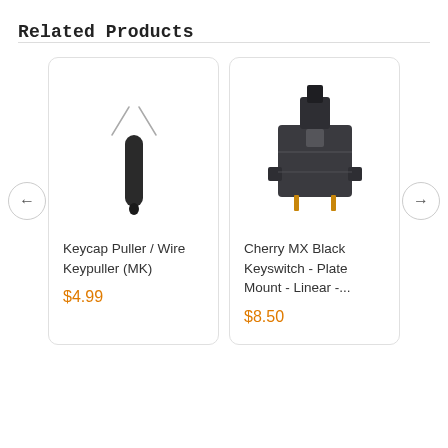Related Products
[Figure (photo): Keycap puller / wire keypuller tool — thin metal wire loop on a black handle]
Keycap Puller / Wire Keypuller (MK)
$4.99
[Figure (photo): Cherry MX Black Keyswitch — dark grey/black mechanical keyboard switch, plate mount, linear]
Cherry MX Black Keyswitch - Plate Mount - Linear -...
$8.50